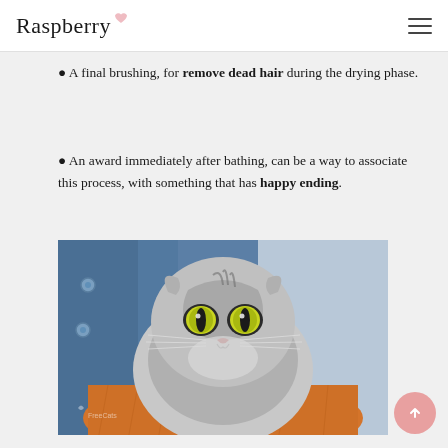Raspberry
A final brushing, for remove dead hair during the drying phase.
An award immediately after bathing, can be a way to associate this process, with something that has happy ending.
[Figure (photo): A wet Scottish Fold cat with striking yellow-green eyes, wrapped in an orange towel, with a blue denim background.]